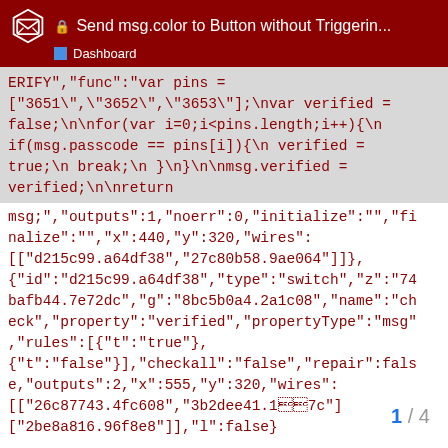🔒 Send msg.color to Button without Triggerin...
Dashboard
ERIFY","func":"var pins = [\"3651\",\"3652\",\"3653\"];\nvar verified = false;\n\nfor(var i=0;i<pins.length;i++){\n if(msg.passcode == pins[i]){\n verified = true;\n break;\n }\n}\n\nmsg.verified = verified;\n\nreturn msg;","outputs":1,"noerr":0,"initialize":"","finalize":"","x":440,"y":320,"wires":[["d215c99.a64df38","27c80b58.9ae064"]]},{"id":"d215c99.a64df38","type":"switch","z":"74bafb44.7e72dc","g":"8bc5b0a4.2a1c08","name":"check","property":"verified","propertyType":"msg","rules":[{"t":"true"},{"t":"false"}],"checkall":"false","repair":false,"outputs":2,"x":555,"y":320,"wires":[["26c87743.4fc608","3b2dee41.1b447c"],["2be8a816.96f8e8"]],"l":false}
1 / 4